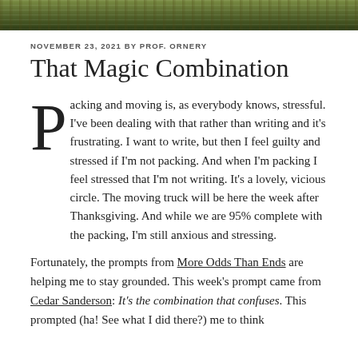[Figure (photo): Narrow landscape photo strip showing foliage and ground cover in greens and browns at the top of the page.]
NOVEMBER 23, 2021 BY PROF. ORNERY
That Magic Combination
Packing and moving is, as everybody knows, stressful. I've been dealing with that rather than writing and it's frustrating. I want to write, but then I feel guilty and stressed if I'm not packing. And when I'm packing I feel stressed that I'm not writing. It's a lovely, vicious circle. The moving truck will be here the week after Thanksgiving. And while we are 95% complete with the packing, I'm still anxious and stressing.
Fortunately, the prompts from More Odds Than Ends are helping me to stay grounded. This week's prompt came from Cedar Sanderson: It's the combination that confuses. This prompted (ha! See what I did there?) me to think